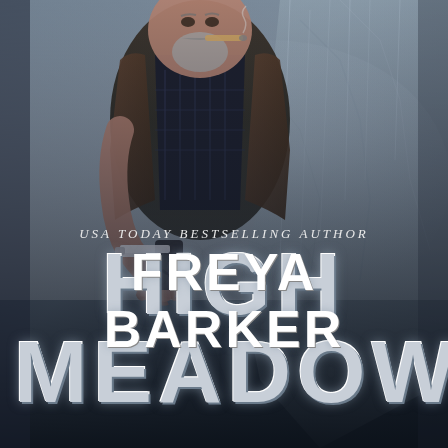[Figure (illustration): Book cover background: rugged middle-aged man with gray beard smoking a cigar, wearing a brown jacket over a dark plaid shirt, holding a gun in his right hand. The background shows a misty, atmospheric cliff or rock face in muted gray-blue tones.]
HIGH MEADOW
USA TODAY BESTSELLING AUTHOR
FREYA BARKER